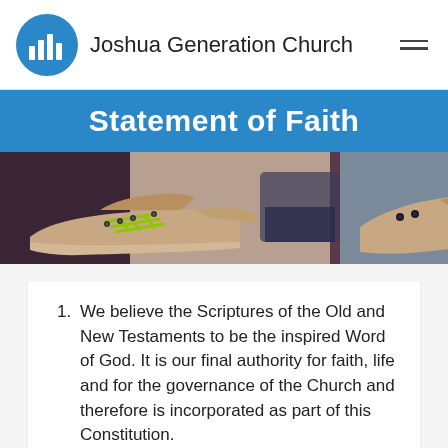Joshua Generation Church
Statement of Faith
[Figure (photo): Close-up photo of worn sneakers/shoes with green laces on one shoe and another shoe lying sideways, against a blurred background]
We believe the Scriptures of the Old and New Testaments to be the inspired Word of God. It is our final authority for faith, life and for the governance of the Church and therefore is incorporated as part of this Constitution.